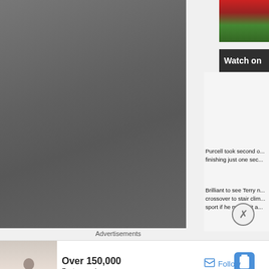[Figure (photo): Large grey/dark photo panel on the left side, appears to be a torn or shadowed image]
[Figure (screenshot): Top right: video thumbnail showing a sports field with a 'Watch on' overlay bar]
Purcell took second o... finishing just one sec...
Brilliant to see Terry n... crossover to stair clim... sport if he makes it a...
Advertisements
[Figure (infographic): Advertisement banner: photo of person, text 'Over 150,000 5-star reviews', Day One app logo]
Follow